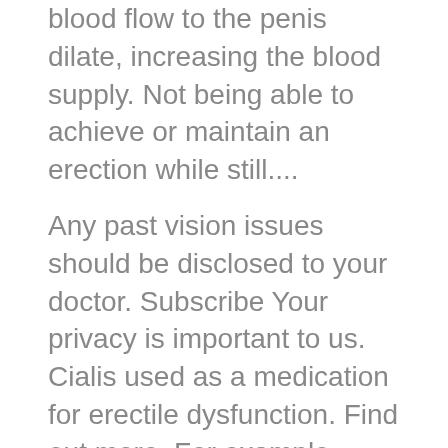blood flow to the penis dilate, increasing the blood supply. Not being able to achieve or maintain an erection while still....
Any past vision issues should be disclosed to your doctor. Subscribe Your privacy is important to us. Cialis used as a medication for erectile dysfunction. Find out more. For example, alcohol and Cialis may interact. No matches found. It has been noted that Cialis can increase the effects of these drugs. Which is best? Table of contents How it works